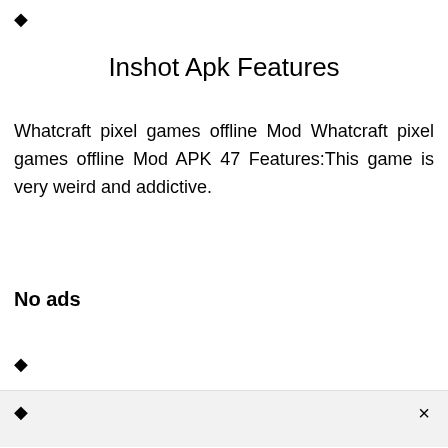[Figure (other): Diamond/question mark icon at top left]
Inshot Apk Features
Whatcraft pixel games offline Mod Whatcraft pixel games offline Mod APK 47 Features:This game is very weird and addictive.
No ads
[Figure (other): Diamond/question mark icon]
[Figure (other): Diamond/question mark icon in bottom bar]
×